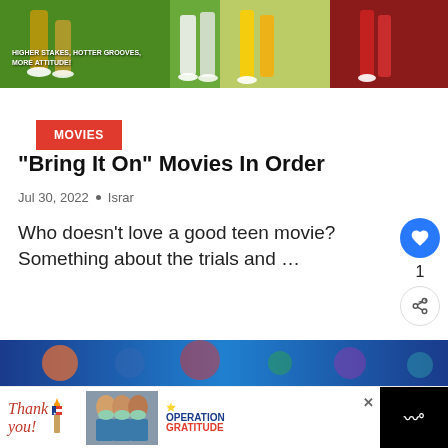[Figure (photo): Cheerleader movie promotional banner image showing legs and uniforms, with text 'Higher Stakes, Hotter Grooves, More Attitude!']
MOVIES
“Bring It On” Movies In Order
Jul 30, 2022 • Israr
Who doesn't love a good teen movie? Something about the trials and …
[Figure (screenshot): What's Next promotion showing 'Lost: Season 6 Spoilers']
[Figure (photo): Bottom portion of page showing a blue movie poster strip]
[Figure (photo): Advertisement bar showing 'Thank you' with Operation Gratitude ad]